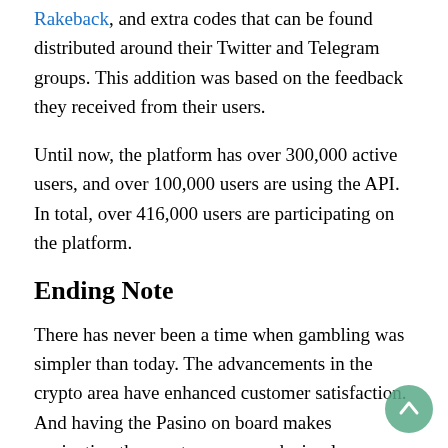Rakeback, and extra codes that can be found distributed around their Twitter and Telegram groups. This addition was based on the feedback they received from their users.
Until now, the platform has over 300,000 active users, and over 100,000 users are using the API. In total, over 416,000 users are participating on the platform.
Ending Note
There has never been a time when gambling was simpler than today. The advancements in the crypto area have enhanced customer satisfaction. And having the Pasino on board makes navigating the crypto space much simpler.
If you're looking for a top-notch crypto casino in 2022, look no further as Pasino is here. Better your odds and have fun at one of the top-rated Bitcoin casinos of 2022.